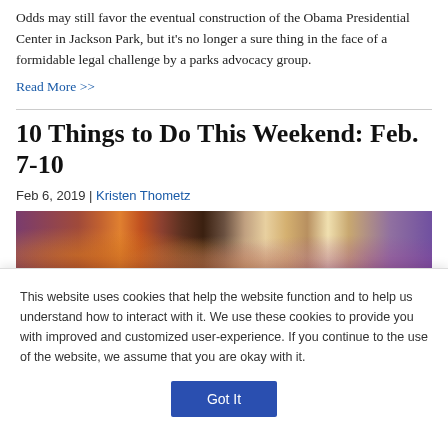Odds may still favor the eventual construction of the Obama Presidential Center in Jackson Park, but it's no longer a sure thing in the face of a formidable legal challenge by a parks advocacy group.
Read More >>
10 Things to Do This Weekend: Feb. 7-10
Feb 6, 2019 | Kristen Thometz
[Figure (photo): Concert photo showing the backs of two people with styled hair under stage lighting with purple and orange hues]
This website uses cookies that help the website function and to help us understand how to interact with it. We use these cookies to provide you with improved and customized user-experience. If you continue to the use of the website, we assume that you are okay with it.